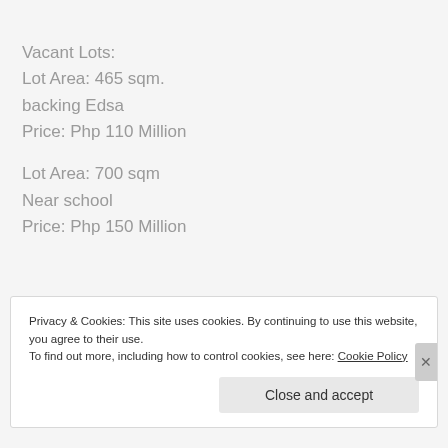Vacant Lots:
Lot Area: 465 sqm.
backing Edsa
Price: Php 110 Million
Lot Area: 700 sqm
Near school
Price: Php 150 Million
Privacy & Cookies: This site uses cookies. By continuing to use this website, you agree to their use.
To find out more, including how to control cookies, see here: Cookie Policy
Close and accept